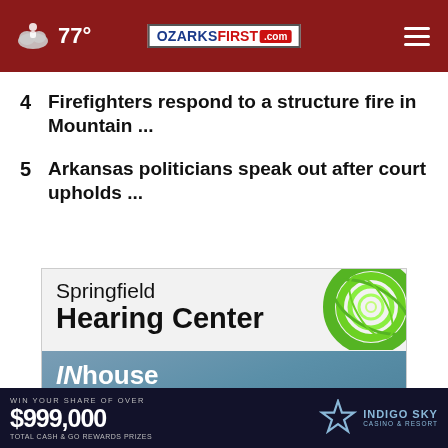77° OZARKSFIRST.com
4  Firefighters respond to a structure fire in Mountain ...
5  Arkansas politicians speak out after court upholds ...
[Figure (advertisement): Springfield Hearing Center ad with INhouse financing text and green spiral logo]
[Figure (advertisement): Indigo Sky Casino & Resort ad: WIN YOUR SHARE OF OVER $999,000 Total Cash & GO Rewards Prizes]